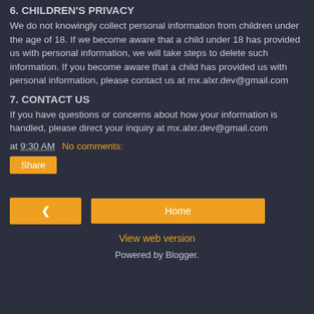6. CHILDREN'S PRIVACY
We do not knowingly collect personal information from children under the age of 18. If we become aware that a child under 18 has provided us with personal information, we will take steps to delete such information. If you become aware that a child has provided us with personal information, please contact us at mx.alxr.dev@gmail.com
7. CONTACT US
If you have questions or concerns about how your information is handled, please direct your inquiry at mx.alxr.dev@gmail.com
at 9:30 AM   No comments:
Share
< Home
View web version
Powered by Blogger.